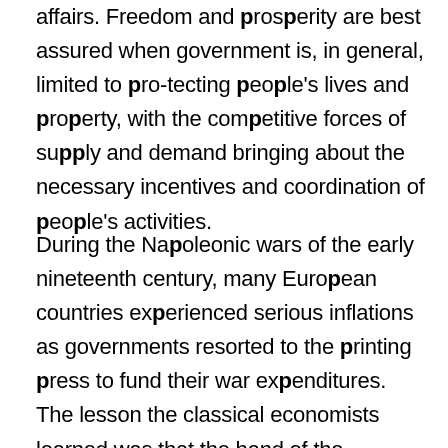affairs. Freedom and prosperity are best assured when government is, in general, limited to protecting people's lives and property, with the competitive forces of supply and demand bringing about the necessary incentives and coordination of people's activities.
During the Napoleonic wars of the early nineteenth century, many European countries experienced serious inflations as governments resorted to the printing press to fund their war expenditures. The lesson the classical economists learned was that the hand of the government had to be removed from the handle of that printing press if monetary stability was to be maintained. The best way of